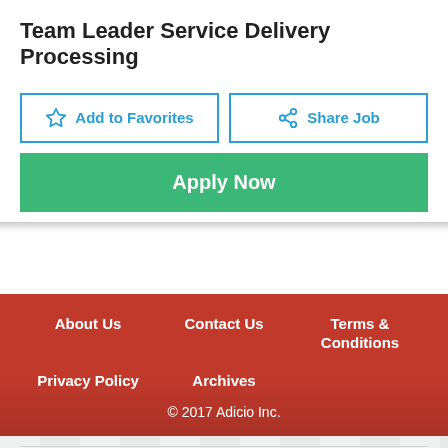Team Leader Service Delivery Processing
Add to Favorites
Share Job
Apply Now
About Us | Contact Us | Terms & Conditions | Privacy Policy | Archives | © 2017 Adicio Inc.
Search Jobs
Resume & Cover Letters
Advanced Job Search
Manage Resumes
Browse Jobs by Category
Create A Resume